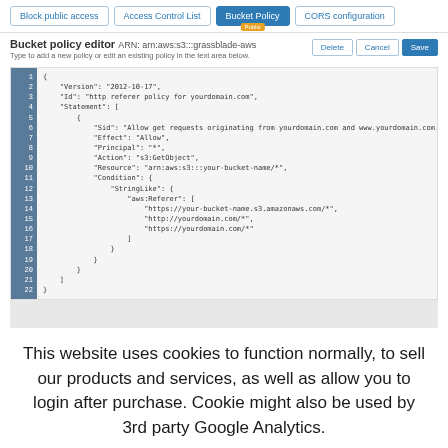[Figure (screenshot): AWS S3 Bucket Policy editor interface showing navigation tabs (Block public access, Access Control List, Bucket Policy with active badge, CORS configuration), policy editor with ARN header, Delete/Cancel/Save buttons, and a JSON code editor with line numbers showing a bucket policy JSON with HTTP referer conditions.]
This website uses cookies to function normally, to sell our products and services, as well as allow you to login after purchase. Cookie might also be used by 3rd party Google Analytics.
Cookie settings   ACCEPT